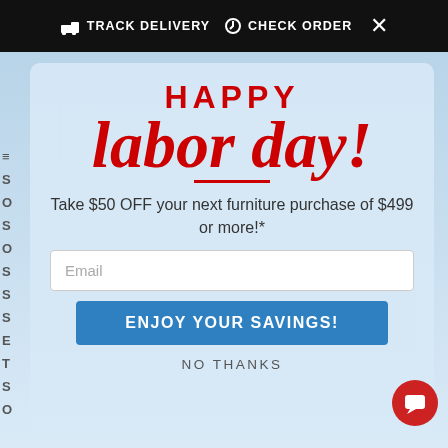🚚 TRACK DELIVERY  🔄 CHECK ORDER  ✕
[Figure (screenshot): Labor Day promotional popup modal over a city skyline background. Contains 'HAPPY labor day!' heading in red, promo text, email input field, savings button, and no thanks link.]
HAPPY
labor day!
Take $50 OFF your next furniture purchase of $499 or more!*
Email
ENJOY YOUR SAVINGS!
NO THANKS